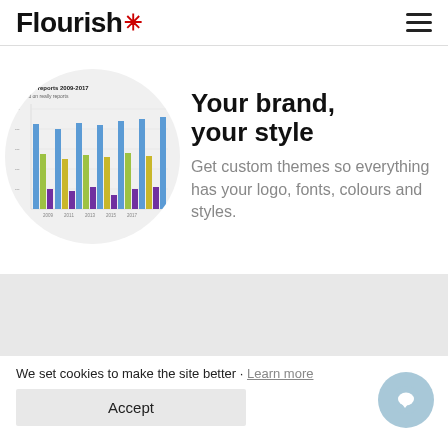Flourish
[Figure (bar-chart): Export reports 2009-2017 grouped bar chart with blue, green/yellow, and purple bars, displayed inside a circular frame]
Your brand, your style
Get custom themes so everything has your logo, fonts, colours and styles.
We set cookies to make the site better · Learn more
Accept